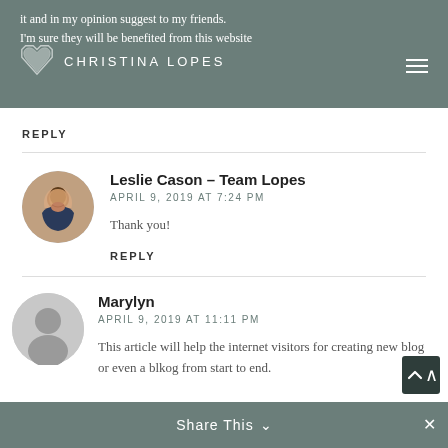it and in my opinion suggest to my friends. I'm sure they will be benefited from this website
REPLY
Leslie Cason – Team Lopes
APRIL 9, 2019 AT 7:24 PM

Thank you!

REPLY
Marylyn
APRIL 9, 2019 AT 11:11 PM

This article will help the internet visitors for creating new blog or even a blkog from start to end.
Share This